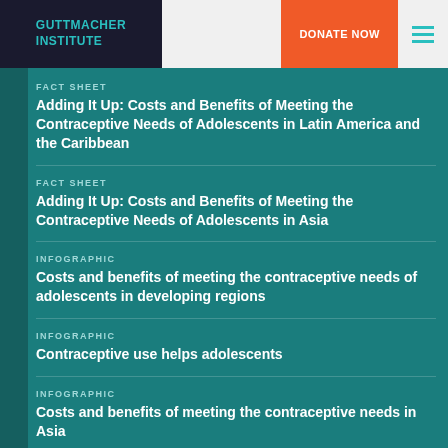GUTTMACHER INSTITUTE | DONATE NOW
FACT SHEET
Adding It Up: Costs and Benefits of Meeting the Contraceptive Needs of Adolescents in Latin America and the Caribbean
FACT SHEET
Adding It Up: Costs and Benefits of Meeting the Contraceptive Needs of Adolescents in Asia
INFOGRAPHIC
Costs and benefits of meeting the contraceptive needs of adolescents in developing regions
INFOGRAPHIC
Contraceptive use helps adolescents
INFOGRAPHIC
Costs and benefits of meeting the contraceptive needs in Asia